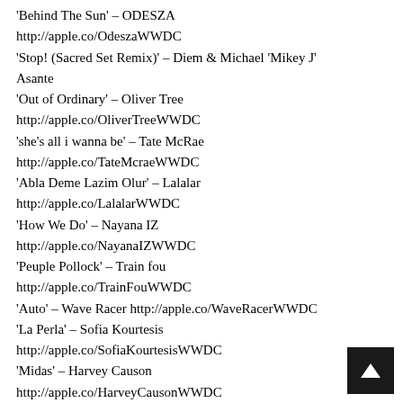'Behind The Sun' – ODESZA
http://apple.co/OdeszaWWDC
'Stop! (Sacred Set Remix)' – Diem & Michael 'Mikey J' Asante
'Out of Ordinary' – Oliver Tree
http://apple.co/OliverTreeWWDC
'she's all i wanna be' – Tate McRae
http://apple.co/TateMcraeWWDC
'Abla Deme Lazim Olur' – Lalalar
http://apple.co/LalalarWWDC
'How We Do' – Nayana IZ
http://apple.co/NayanaIZWWDC
'Peuple Pollock' – Train fou
http://apple.co/TrainFouWWDC
'Auto' – Wave Racer http://apple.co/WaveRacerWWDC
'La Perla' – Sofia Kourtesis
http://apple.co/SofiaKourtesisWWDC
'Midas' – Harvey Causon
http://apple.co/HarveyCausonWWDC